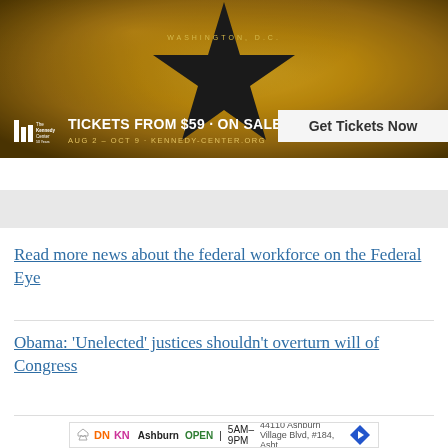[Figure (photo): Hamilton musical advertisement banner for Kennedy Center Washington D.C. — gold textured background with large black star, white text 'TICKETS FROM $59 · ON SALE NOW', 'AUG 2 – OCT 9 · KENNEDY-CENTER.ORG', Kennedy Center logo, and 'Get Tickets Now' button]
Read more news about the federal workforce on the Federal Eye
Obama: 'Unelected' justices shouldn't overturn will of Congress
[Figure (infographic): Dunkin Donuts advertisement: Ashburn OPEN 5AM-9PM, 44110 Ashburn Village Blvd, #184, Asht]